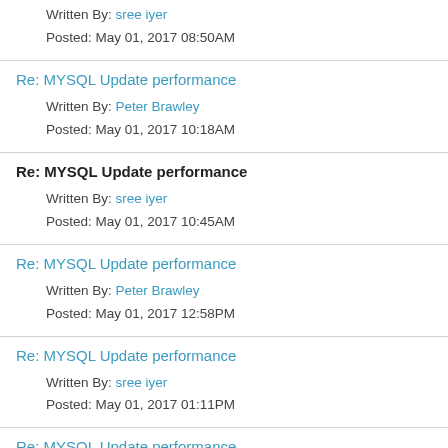Written By: sree iyer
Posted: May 01, 2017 08:50AM
Re: MYSQL Update performance
Written By: Peter Brawley
Posted: May 01, 2017 10:18AM
Re: MYSQL Update performance
Written By: sree iyer
Posted: May 01, 2017 10:45AM
Re: MYSQL Update performance
Written By: Peter Brawley
Posted: May 01, 2017 12:58PM
Re: MYSQL Update performance
Written By: sree iyer
Posted: May 01, 2017 01:11PM
Re: MYSQL Update performance
Written By: Peter Brawley
Posted: May 01, 2017 01:55PM